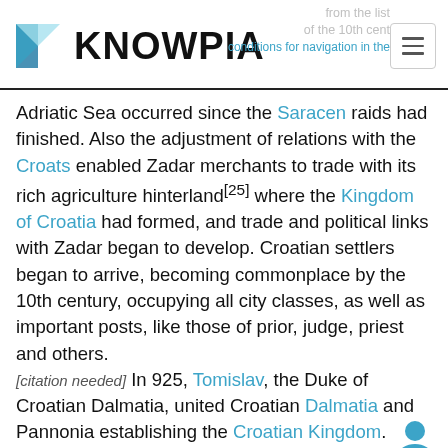KNOWPIA
Adriatic Sea occurred since the Saracen raids had finished. Also the adjustment of relations with the Croats enabled Zadar merchants to trade with its rich agriculture hinterland[25] where the Kingdom of Croatia had formed, and trade and political links with Zadar began to develop. Croatian settlers began to arrive, becoming commonplace by the 10th century, occupying all city classes, as well as important posts, like those of prior, judge, priest and others. [citation needed] In 925, Tomislav, the Duke of Croatian Dalmatia, united Croatian Dalmatia and Pannonia establishing the Croatian Kingdom.
Following the dynastic struggle between the descendants of king Stjepan Držislav after his death in